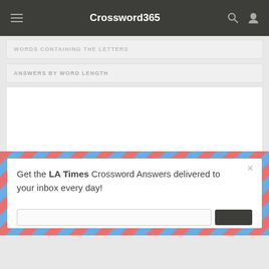Crossword365
ANSWERS BY WORD LENGTH
Get the LA Times Crossword Answers delivered to your inbox every day!